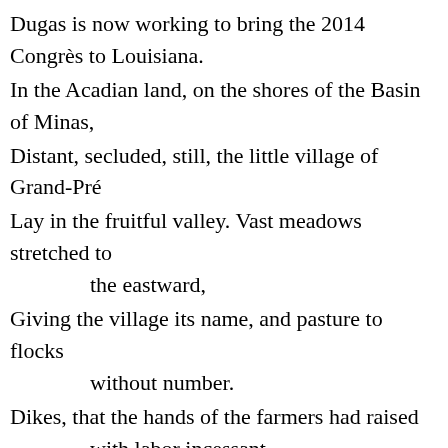Dugas is now working to bring the 2014 Congrès to Louisiana.
In the Acadian land, on the shores of the Basin of Minas,
Distant, secluded, still, the little village of Grand-Pré
Lay in the fruitful valley. Vast meadows stretched to
        the eastward,
Giving the village its name, and pasture to flocks
        without number.
Dikes, that the hands of the farmers had raised
        with labor incessant,